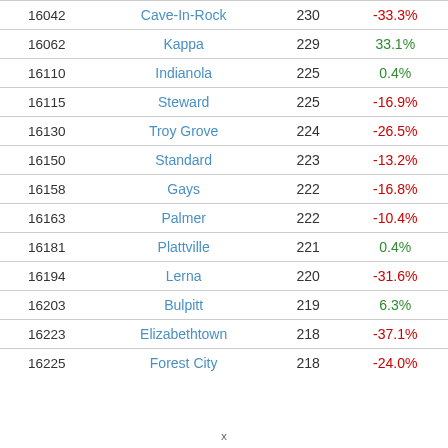| ID | Name | Population | Change |
| --- | --- | --- | --- |
| 16042 | Cave-In-Rock | 230 | -33.3% |
| 16062 | Kappa | 229 | 33.1% |
| 16110 | Indianola | 225 | 0.4% |
| 16115 | Steward | 225 | -16.9% |
| 16130 | Troy Grove | 224 | -26.5% |
| 16150 | Standard | 223 | -13.2% |
| 16158 | Gays | 222 | -16.8% |
| 16163 | Palmer | 222 | -10.4% |
| 16181 | Plattville | 221 | 0.4% |
| 16194 | Lerna | 220 | -31.6% |
| 16203 | Bulpitt | 219 | 6.3% |
| 16223 | Elizabethtown | 218 | -37.1% |
| 16225 | Forest City | 218 | -24.0% |